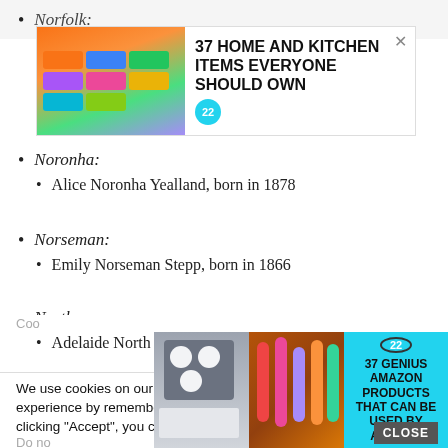Norfolk:
[Figure (other): Advertisement banner: 37 HOME AND KITCHEN ITEMS EVERYONE SHOULD OWN with colorful storage bag image and 22 logo]
Noronha:
Alice Noronha Yealland, born in 1878
Norseman:
Emily Norseman Stepp, born in 1866
North:
Adelaide North Hossack, born in 1875
We use cookies on our website to give you the most relevant experience by remembering your preferences and repeat visits. By clicking “Accept”, you consent to the use of ALL the cookies.
Do no
Coo
[Figure (other): Advertisement banner: 37 GENIUS AMAZON PRODUCTS THAT CAN BE USED BY ANYONE with cookie and makeup images and 22 logo]